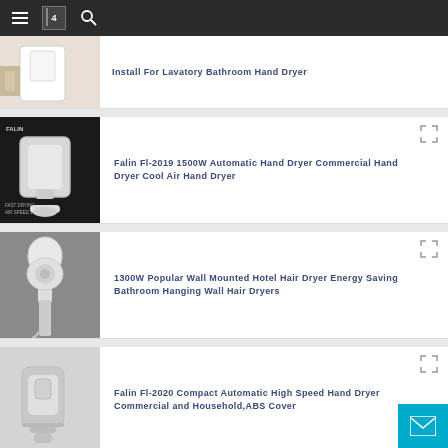Navigation bar with menu, book icon, and search icon
Install For Lavatory Bathroom Hand Dryer
Falin Fl-2019 1500W Automatic Hand Dryer Commercial Hand Dryer Cool Air Hand Dryer
1300W Popular Wall Mounted Hotel Hair Dryer Energy Saving Bathroom Hanging Wall Hair Dryers
Falin Fl-2020 Compact Automatic High Speed Hand Dryer Commercial and Household,ABS Cover
FALIN FL-2115 Bathroom Hotel Hair Dryer Wi...